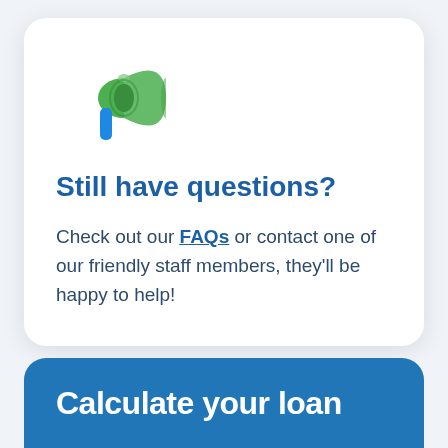[Figure (illustration): Green megaphone/loudspeaker emoji illustration with blue handle]
Still have questions?
Check out our FAQs or contact one of our friendly staff members, they'll be happy to help!
Calculate your loan